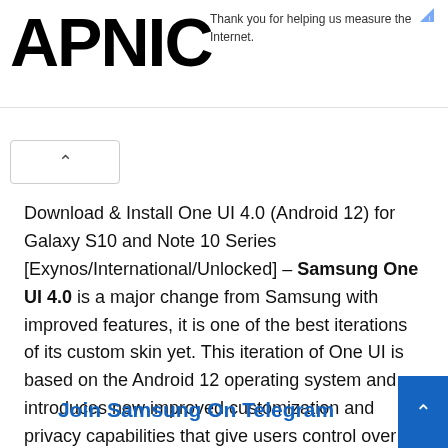APNIC — Thank you for helping us measure the Internet.
Download & Install One UI 4.0 (Android 12) for Galaxy S10 and Note 10 Series [Exynos/International/Unlocked] – Samsung One UI 4.0 is a major change from Samsung with improved features, it is one of the best iterations of its custom skin yet. This iteration of One UI is based on the Android 12 operating system and introduces new improved customization and privacy capabilities that give users control over many aspects of their mobile experience.
Join Samsung On Telegram